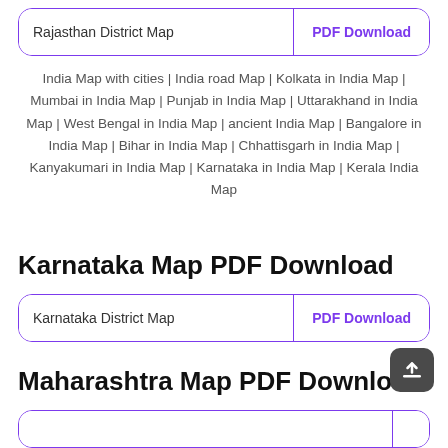Rajasthan District Map | PDF Download
India Map with cities | India road Map | Kolkata in India Map | Mumbai in India Map | Punjab in India Map | Uttarakhand in India Map | West Bengal in India Map | ancient India Map | Bangalore in India Map | Bihar in India Map | Chhattisgarh in India Map | Kanyakumari in India Map | Karnataka in India Map | Kerala India Map
Karnataka Map PDF Download
Karnataka District Map | PDF Download
Maharashtra Map PDF Download